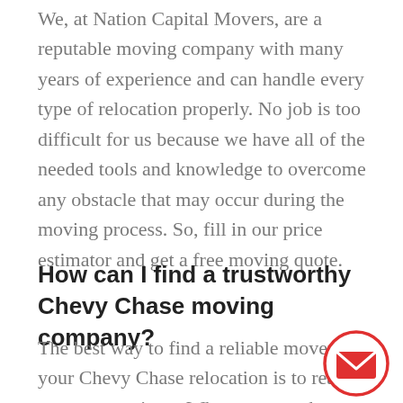We, at Nation Capital Movers, are a reputable moving company with many years of experience and can handle every type of relocation properly. No job is too difficult for us because we have all of the needed tools and knowledge to overcome any obstacle that may occur during the moving process. So, fill in our price estimator and get a free moving quote.
How can I find a trustworthy Chevy Chase moving company?
The best way to find a reliable mover for your Chevy Chase relocation is to read customer reviews. When you see the honest opinions of previous customers of a specific moving
[Figure (illustration): Email envelope icon inside a red circle outline, positioned at the bottom right of the page]